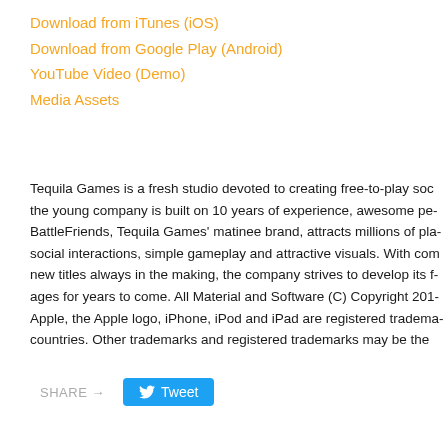Download from iTunes (iOS)
Download from Google Play (Android)
YouTube Video (Demo)
Media Assets
Tequila Games is a fresh studio devoted to creating free-to-play so... the young company is built on 10 years of experience, awesome pe... BattleFriends, Tequila Games' matinee brand, attracts millions of pla... social interactions, simple gameplay and attractive visuals. With con... new titles always in the making, the company strives to develop its f... ages for years to come. All Material and Software (C) Copyright 201... Apple, the Apple logo, iPhone, iPod and iPad are registered tradema... countries. Other trademarks and registered trademarks may be the
SHARE → Tweet